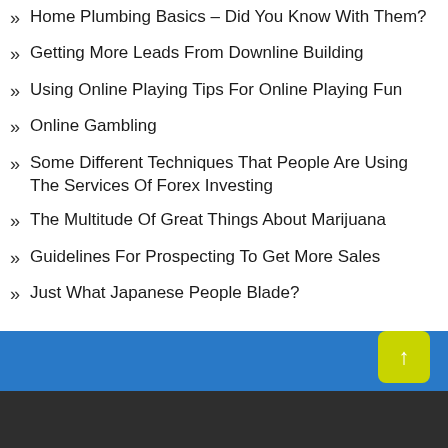Home Plumbing Basics – Did You Know With Them?
Getting More Leads From Downline Building
Using Online Playing Tips For Online Playing Fun
Online Gambling
Some Different Techniques That People Are Using The Services Of Forex Investing
The Multitude Of Great Things About Marijuana
Guidelines For Prospecting To Get More Sales
Just What Japanese People Blade?